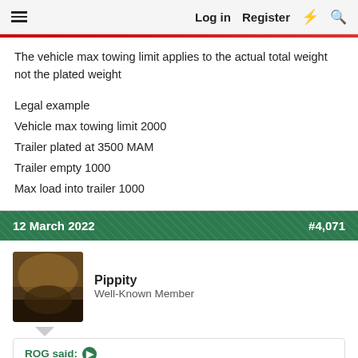≡  Log in  Register  ⚡  🔍
The vehicle max towing limit applies to the actual total weight not the plated weight
Legal example
Vehicle max towing limit 2000
Trailer plated at 3500 MAM
Trailer empty 1000
Max load into trailer 1000
12 March 2022   #4,071
Pippity
Well-Known Member
ROG said: ➤
The vehicle max towing limit applies to the actual total weight not the plated weight